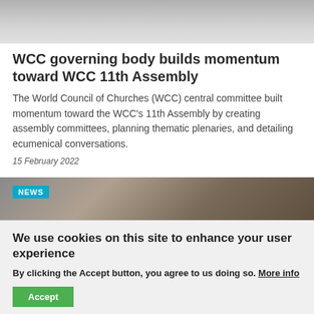[Figure (photo): Grayscale photo at top of page, partially cropped]
WCC governing body builds momentum toward WCC 11th Assembly
The World Council of Churches (WCC) central committee built momentum toward the WCC's 11th Assembly by creating assembly committees, planning thematic plenaries, and detailing ecumenical conversations.
15 February 2022
[Figure (photo): Dark brown/grey photo of what appears to be wooden surfaces or books, with a NEWS badge overlay]
We use cookies on this site to enhance your user experience
By clicking the Accept button, you agree to us doing so. More info